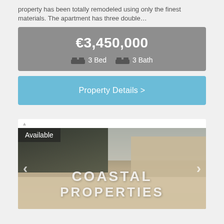property has been totally remodeled using only the finest materials. The apartment has three double…
€3,450,000 · 3 Bed · 3 Bath
Property Details >
[Figure (photo): Rooftop terrace photo of a coastal property with trees and buildings in background, overlaid with 'COASTAL PROPERTIES' text watermark and 'Available' badge]